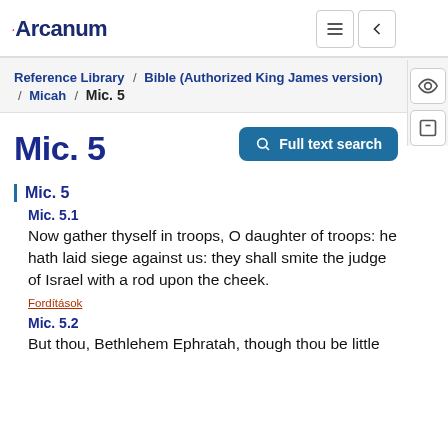·Arcanum
Reference Library / Bible (Authorized King James version) / Micah / Mic. 5
Mic. 5
Mic. 5
Mic. 5.1
Now gather thyself in troops, O daughter of troops: he hath laid siege against us: they shall smite the judge of Israel with a rod upon the cheek.
Fordítások
Mic. 5.2
But thou, Bethlehem Ephratah, though thou be little